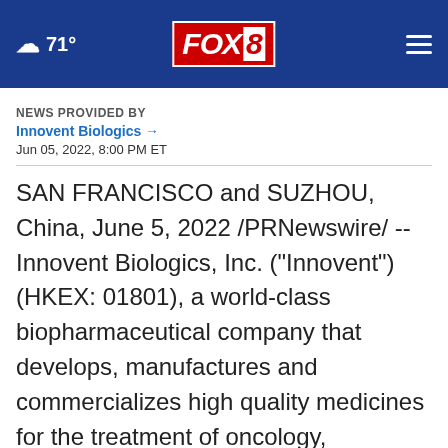71° FOX 8
NEWS PROVIDED BY
Innovent Biologics →
Jun 05, 2022, 8:00 PM ET
SAN FRANCISCO and SUZHOU, China, June 5, 2022 /PRNewswire/ -- Innovent Biologics, Inc. ("Innovent") (HKEX: 01801), a world-class biopharmaceutical company that develops, manufactures and commercializes high quality medicines for the treatment of oncology, autoimmune, metabolic, ophthalmology and other
Adopt a teen. You can't imagine the reward.